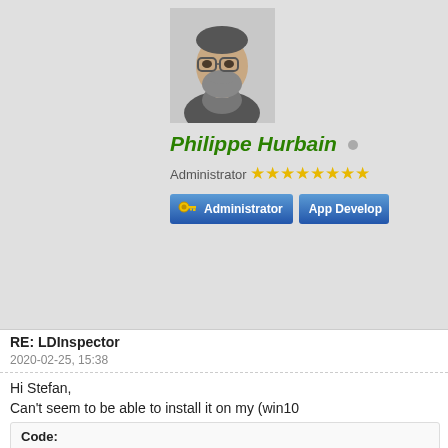[Figure (photo): Grayscale profile photo of a bearded man wearing glasses]
Philippe Hurbain
Administrator ★★★★★★★★
[Figure (infographic): Administrator badge button (blue)]
[Figure (infographic): App Developer badge button (blue, partially visible)]
RE: LDInspector
2020-02-25, 15:38
Hi Stefan,
Can't seem to be able to install it on my (win10...
Code:
BITSADMIN version 3.0
BITS administration utility.
(C) Copyright Microsoft Corp.

Invalid argument.